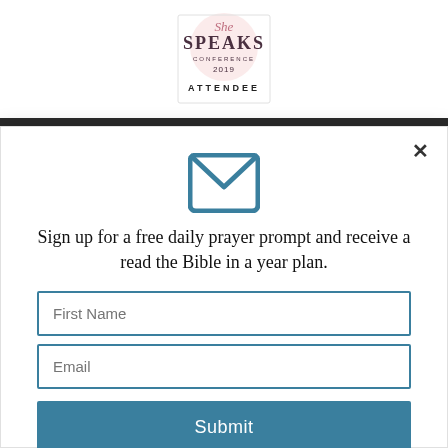[Figure (logo): She Speaks Conference 2019 Attendee badge/logo in pink and dark text on white background]
[Figure (screenshot): Email signup modal popup with envelope icon, text about free daily prayer prompt and Bible reading plan, First Name and Email input fields, and a Submit button]
Sign up for a free daily prayer prompt and receive a read the Bible in a year plan.